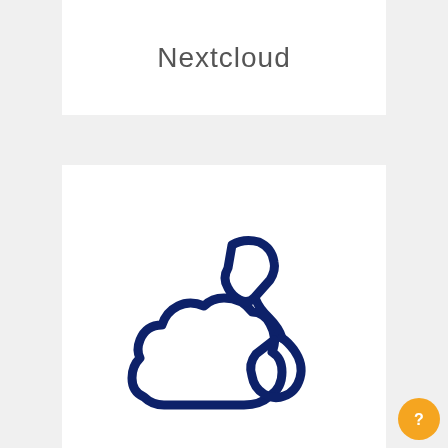Nextcloud
[Figure (logo): o2 digital phone logo icon: dark navy blue combined cloud and telephone handset icon]
o2 digital phone
[Figure (photo): Partial dark navy blue card with a person/avatar icon visible at the bottom]
[Figure (other): Orange circular help/question mark button in the bottom-right corner]